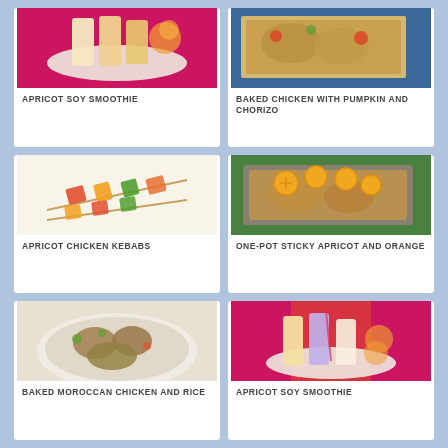[Figure (photo): Apricot soy smoothie drinks on a pink/magenta tray with glasses]
APRICOT SOY SMOOTHIE
[Figure (photo): Baked chicken with pumpkin and chorizo in a baking tray with blue background]
BAKED CHICKEN WITH PUMPKIN AND CHORIZO
[Figure (photo): Apricot chicken kebabs on skewers with vegetables on white background]
APRICOT CHICKEN KEBABS
[Figure (photo): One-pot sticky apricot and orange chicken in a baking tray on green surface]
ONE-POT STICKY APRICOT AND ORANGE
[Figure (photo): Baked Moroccan chicken and rice in a white bowl]
BAKED MOROCCAN CHICKEN AND RICE
[Figure (photo): Apricot soy smoothie drinks in glasses on a pink tray with polka dot pattern]
APRICOT SOY SMOOTHIE